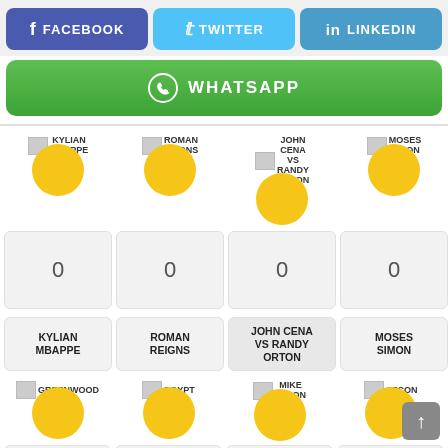[Figure (infographic): Social media share buttons: Facebook (blue), Twitter (light blue), LinkedIn (blue)]
[Figure (infographic): WhatsApp share button (green)]
[Figure (infographic): Voting grid with 4 columns: Kylian Mbappe (0 votes), Roman Reigns (0 votes), John Cena VS Randy Orton (0 votes), Moses Simon (0 votes), and bottom row avatars: Greenwood, Egypt, Mike Tyson, Afcon]